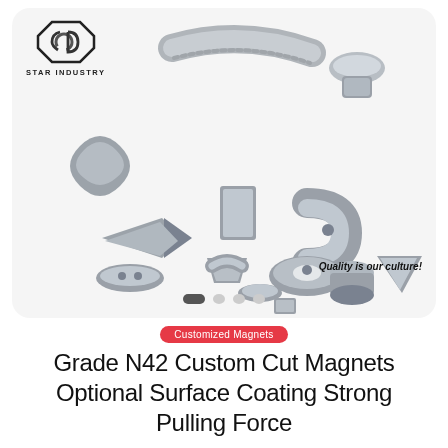[Figure (photo): Product showcase card with white/gray rounded background showing multiple neodymium magnets in various shapes (arc, oval, cross, rectangle, disc, ring, cube, wedge, etc.) in silver/nickel finish. Star Industry logo in top-left corner. 'Quality is our culture!' text in bottom-right. Navigation dots at bottom.]
Customized Magnets
Grade N42 Custom Cut Magnets Optional Surface Coating Strong Pulling Force